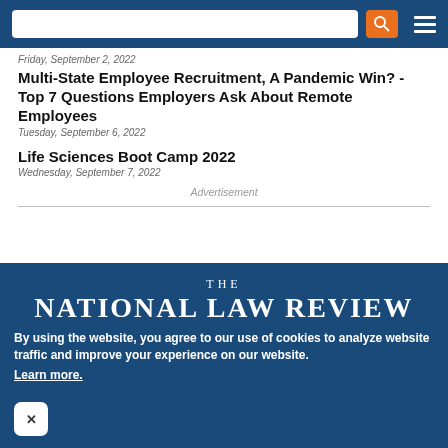National Law Review website header with search bar, search button, and menu icon
Friday, September 2, 2022
Multi-State Employee Recruitment, A Pandemic Win? - Top 7 Questions Employers Ask About Remote Employees
Tuesday, September 6, 2022
Life Sciences Boot Camp 2022
Wednesday, September 7, 2022
Advertisement
[Figure (logo): THE NATIONAL LAW REVIEW logo in white text on dark blue background]
By using the website, you agree to our use of cookies to analyze website traffic and improve your experience on our website. Learn more.